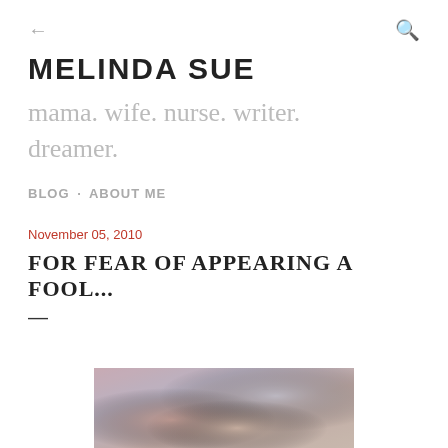← MELINDA SUE
MELINDA SUE
mama. wife. nurse. writer. dreamer.
BLOG · ABOUT ME
November 05, 2010
FOR FEAR OF APPEARING A FOOL...
—
[Figure (photo): A blurred photo showing colorful items, appears to be crafts or personal objects on a table]